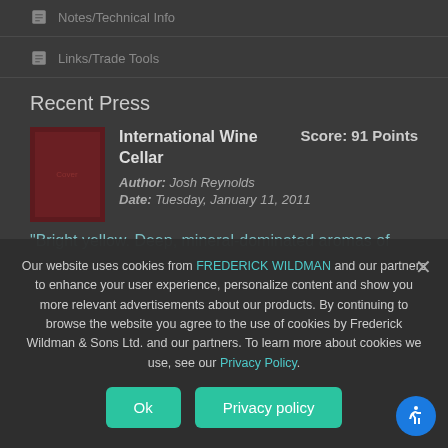Notes/Technical Info
Links/Trade Tools
Recent Press
International Wine Cellar
Author: Josh Reynolds
Date: Tuesday, January 11, 2011
Score: 91 Points
"Bright yellow. Deep, mineral-dominated aromas of
Our website uses cookies from FREDERICK WILDMAN and our partners to enhance your user experience, personalize content and show you more relevant advertisements about our products. By continuing to browse the website you agree to the use of cookies by Frederick Wildman & Sons Ltd. and our partners. To learn more about cookies we use, see our Privacy Policy.